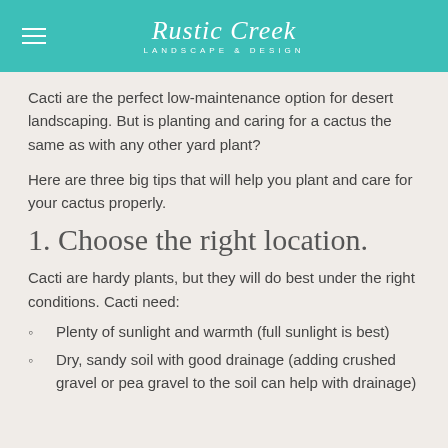Rustic Creek LANDSCAPE & DESIGN
Cacti are the perfect low-maintenance option for desert landscaping. But is planting and caring for a cactus the same as with any other yard plant?
Here are three big tips that will help you plant and care for your cactus properly.
1. Choose the right location.
Cacti are hardy plants, but they will do best under the right conditions. Cacti need:
Plenty of sunlight and warmth (full sunlight is best)
Dry, sandy soil with good drainage (adding crushed gravel or pea gravel to the soil can help with drainage)